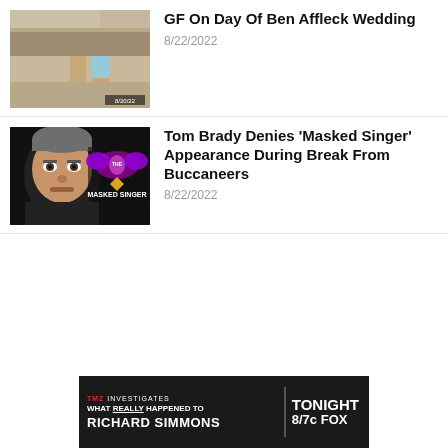[Figure (photo): Thumbnail photo of people standing in an indoor room, legs visible, 8/20/22 timestamp]
GF On Day Of Ben Affleck Wedding
8/22/2022
[Figure (photo): Thumbnail photo of Tom Brady next to The Masked Singer logo]
Tom Brady Denies 'Masked Singer' Appearance During Break From Buccaneers
8/22/2022
[Figure (other): TMZ Investigates advertisement banner: What Really Happened To Richard Simmons, Tonight 8/7c FOX]